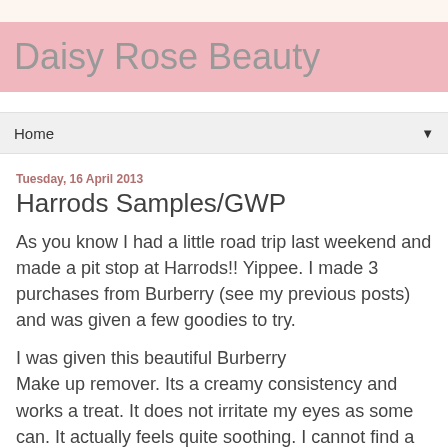Daisy Rose Beauty
Home
Tuesday, 16 April 2013
Harrods Samples/GWP
As you know I had a little road trip last weekend and made a pit stop at Harrods!! Yippee. I made 3 purchases from Burberry (see my previous posts) and was given a few goodies to try.
I was given this beautiful Burberry Make up remover. Its a creamy consistency and works a treat. It does not irritate my eyes as some can. It actually feels quite soothing. I cannot find a price for this??? I am not sure it is available to purchase?